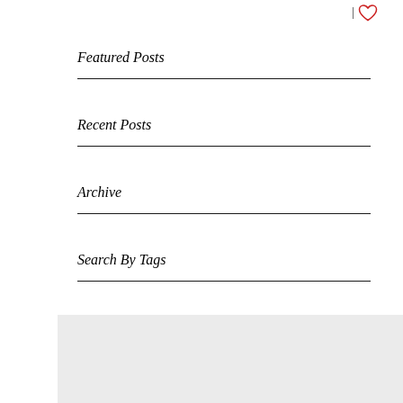Featured Posts
Recent Posts
Archive
Search By Tags
[Figure (other): Gray rectangle at the bottom of the page]